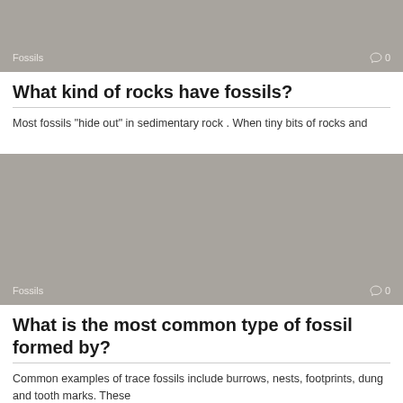[Figure (photo): Gray placeholder image with 'Fossils' label and comment icon showing 0 comments]
What kind of rocks have fossils?
Most fossils "hide out" in sedimentary rock . When tiny bits of rocks and
[Figure (photo): Gray placeholder image with 'Fossils' label and comment icon showing 0 comments]
What is the most common type of fossil formed by?
Common examples of trace fossils include burrows, nests, footprints, dung and tooth marks. These